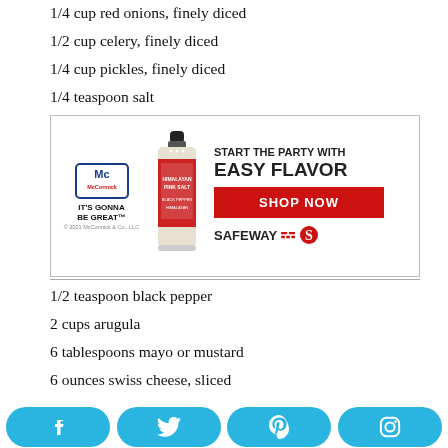1/4 cup red onions, finely diced
1/2 cup celery, finely diced
1/4 cup pickles, finely diced
1/4 teaspoon salt
[Figure (infographic): McCormick advertisement: logo with 'IT'S GONNA BE GREAT' tagline, Himalayan Pink Salt bottle image, text 'START THE PARTY WITH EASY FLAVOR', red 'SHOP NOW' button, and Safeway logo]
1/2 teaspoon black pepper
2 cups arugula
6 tablespoons mayo or mustard
6 ounces swiss cheese, sliced
12 pieces of multigrain bread
[Figure (infographic): Purple 'Get Ingredients' button]
Powered by chicory
[Figure (infographic): Food image preview thumbnail]
[Figure (infographic): Social media bar with Facebook, Twitter, Pinterest, and Instagram icons in blue rounded buttons]